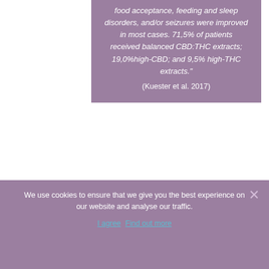food acceptance, feeding and sleep disorders, and/or seizures were improved in most cases. 71,5% of patients received balanced CBD:THC extracts; 19,0%high-CBD; and 9,5% high-THC extracts."
(Kuester et al. 2017)
Multi-systemic effects of
We use cookies to ensure that we give you the best experience on our website and analyse our traffic.
I agree   Find out more